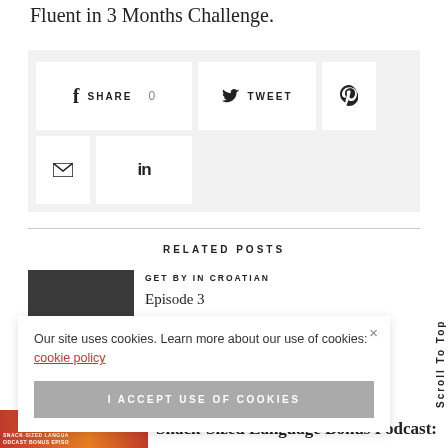Fluent in 3 Months Challenge.
[Figure (infographic): Social sharing buttons bar with Facebook (SHARE, 0), Twitter (TWEET), Pinterest, Email, and LinkedIn icons on a light grey background]
RELATED POSTS
[Figure (photo): Dark grey thumbnail image for a related post]
GET BY IN CROATIAN
Episode 3
[Figure (infographic): Cookie consent banner with close button, text 'Our site uses cookies. Learn more about our use of cookies: cookie policy', and 'I ACCEPT USE OF COOKIES' button]
Scroll To Top
[Figure (photo): Snack-Sized Language Bonus Podcast thumbnail (orange-red gradient)]
Snack-Sized Language Bonus Podcast: